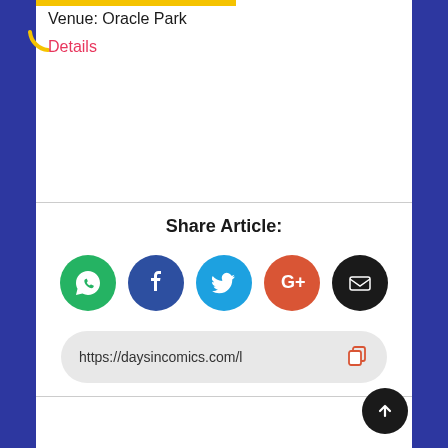Venue: Oracle Park
Details
Share Article:
[Figure (infographic): Social share buttons: WhatsApp (green), Facebook (dark blue), Twitter (light blue), Google+ (red-orange), Email (black) — five circular icon buttons]
https://daysincomics.com/l